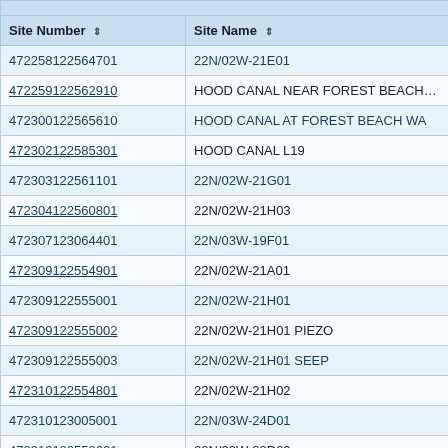| Site Number | Site Name |
| --- | --- |
| 472258122564701 | 22N/02W-21E01 |
| 472259122562910 | HOOD CANAL NEAR FOREST BEACH WA |
| 472300122565610 | HOOD CANAL AT FOREST BEACH WA |
| 472302122585301 | HOOD CANAL L19 |
| 472303122561101 | 22N/02W-21G01 |
| 472304122560801 | 22N/02W-21H03 |
| 472307123064401 | 22N/03W-19F01 |
| 472309122554901 | 22N/02W-21A01 |
| 472309122555001 | 22N/02W-21H01 |
| 472309122555002 | 22N/02W-21H01 PIEZO |
| 472309122555003 | 22N/02W-21H01 SEEP |
| 472310122554801 | 22N/02W-21H02 |
| 472310123005001 | 22N/03W-24D01 |
| 472313122552601 | 22N/02W-22D02 |
| 472313122554301 | 22N/02W-22D03 |